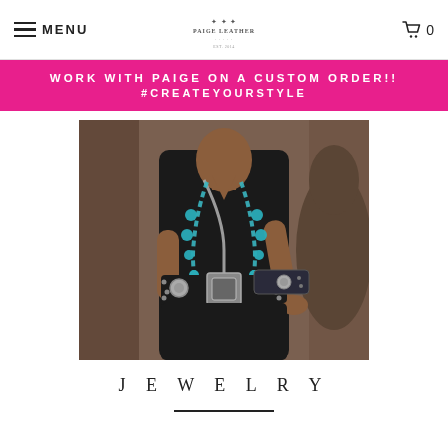MENU | Paige Leather logo | Cart 0
WORK WITH PAIGE ON A CUSTOM ORDER!! #CREATEYOURSTYLE
[Figure (photo): Woman wearing a black dress with turquoise squash blossom necklace and studded leather belt, standing near a horse]
JEWELRY